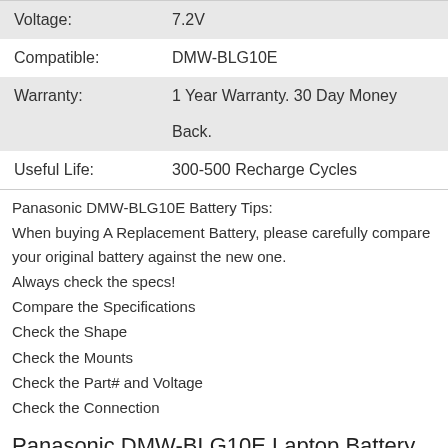| Voltage: | 7.2V |
| Compatible: | DMW-BLG10E |
| Warranty: | 1 Year Warranty. 30 Day Money Back. |
| Useful Life: | 300-500 Recharge Cycles |
Panasonic DMW-BLG10E Battery Tips:
When buying A Replacement Battery, please carefully compare your original battery against the new one.
Always check the specs!
Compare the Specifications
Check the Shape
Check the Mounts
Check the Part# and Voltage
Check the Connection
Panasonic DMW-BLG10E Laptop Battery

can replace the following part numbers:
DMW-BLG10   DMW-BLG10E